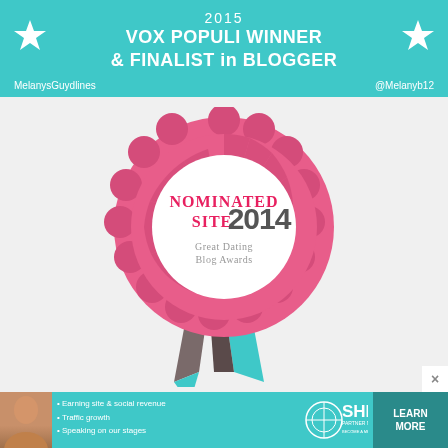[Figure (infographic): Teal banner reading '2015 VOX POPULI WINNER & FINALIST in BLOGGER' with stars on either side, social handles MelanysGuydlines and @Melanyb12]
[Figure (illustration): Award rosette badge - pink ribbon rosette with white circle center, text reads 'NOMINATED SITE 2014 Great Dating Blog Awards', with brown and teal ribbon tails hanging below]
[Figure (infographic): Advertisement banner for SHE Partner Network with woman photo, bullet points: Earning site & social revenue, Traffic growth, Speaking on our stages. SHE PARTNER NETWORK BECOME A MEMBER logo and LEARN MORE button.]